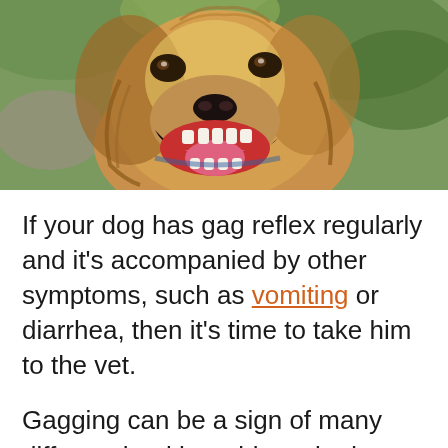[Figure (photo): Close-up photograph of a dog (golden/brown collie-type) with mouth wide open showing teeth and tongue, appearing to be gagging or barking, with green foliage in background]
If your dog has gag reflex regularly and it's accompanied by other symptoms, such as vomiting or diarrhea, then it's time to take him to the vet.
Gagging can be a sign of many different health problems in dogs, from mild to life-threatening.